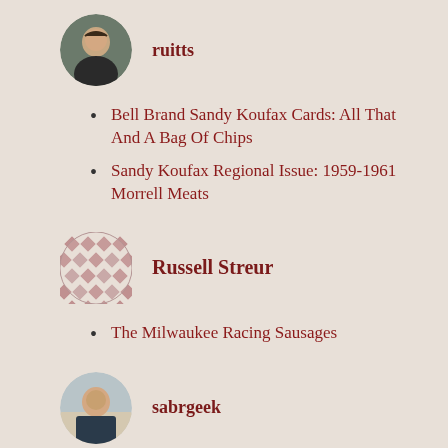[Figure (photo): Circular profile photo of user 'ruitts' — man with short hair]
ruitts
Bell Brand Sandy Koufax Cards: All That And A Bag Of Chips
Sandy Koufax Regional Issue: 1959-1961 Morrell Meats
[Figure (logo): Diamond/checker pattern avatar for Russell Streur]
Russell Streur
The Milwaukee Racing Sausages
[Figure (photo): Circular profile photo of user 'sabrgeek']
sabrgeek
Al Rosen: 1980's Card Icon
So you want to be a full-time sports card dealer?